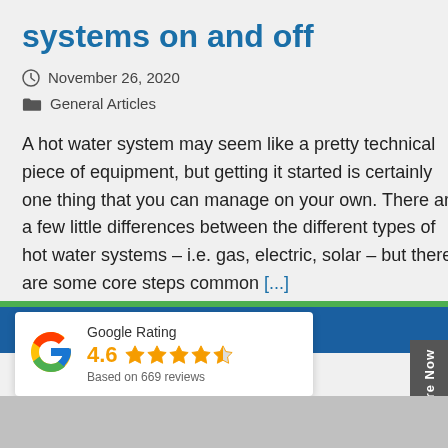systems on and off
November 26, 2020
General Articles
A hot water system may seem like a pretty technical piece of equipment, but getting it started is certainly one thing that you can manage on your own. There are a few little differences between the different types of hot water systems – i.e. gas, electric, solar – but there are some core steps common [...]
[Figure (other): Google Rating widget showing 4.6 stars based on 669 reviews with Google logo]